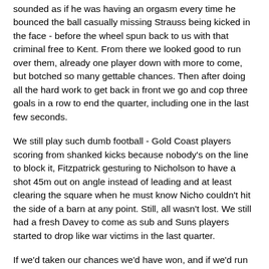sounded as if he was having an orgasm every time he bounced the ball casually missing Strauss being kicked in the face - before the wheel spun back to us with that criminal free to Kent. From there we looked good to run over them, already one player down with more to come, but botched so many gettable chances. Then after doing all the hard work to get back in front we go and cop three goals in a row to end the quarter, including one in the last few seconds.
We still play such dumb football - Gold Coast players scoring from shanked kicks because nobody's on the line to block it, Fitzpatrick gesturing to Nicholson to have a shot 45m out on angle instead of leading and at least clearing the square when he must know Nicho couldn't hit the side of a barn at any point. Still, all wasn't lost. We still had a fresh Davey to come as sub and Suns players started to drop like war victims in the last quarter.
If we'd taken our chances we'd have won, and if we'd run them off their legs more in the last 10 minutes we'd have given ourselves even more shots on goal which would surely have come off eventually. Sadly this is not the sort of team to